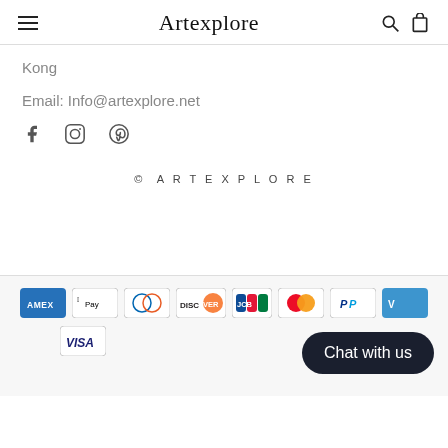Artexplore
Kong
Email: Info@artexplore.net
[Figure (illustration): Social media icons: Facebook, Instagram, Pinterest]
© ARTEXPLORE
[Figure (illustration): Payment method icons: American Express, Apple Pay, Diners Club, Discover, JCB, Mastercard, PayPal, Venmo, Visa]
Chat with us